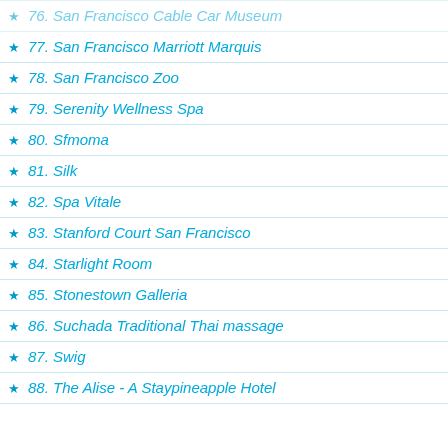76. San Francisco Cable Car Museum
77. San Francisco Marriott Marquis
78. San Francisco Zoo
79. Serenity Wellness Spa
80. Sfmoma
81. Silk
82. Spa Vitale
83. Stanford Court San Francisco
84. Starlight Room
85. Stonestown Galleria
86. Suchada Traditional Thai massage
87. Swig
88. The Alise - A Staypineapple Hotel